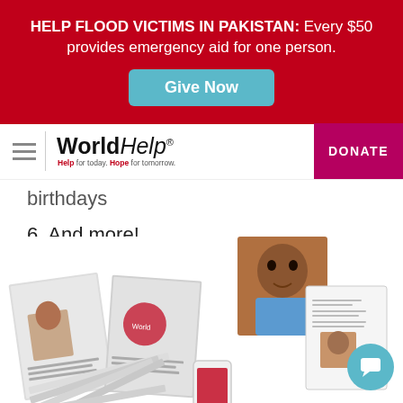HELP FLOOD VICTIMS IN PAKISTAN: Every $50 provides emergency aid for one person.
Give Now
[Figure (logo): World Help logo with tagline 'Help for today. Hope for tomorrow.']
DONATE
birthdays
6. And more!
[Figure (photo): Collage of World Help materials including a child sponsor book, a letter with a child's photo, a mobile phone, and photos of children.]